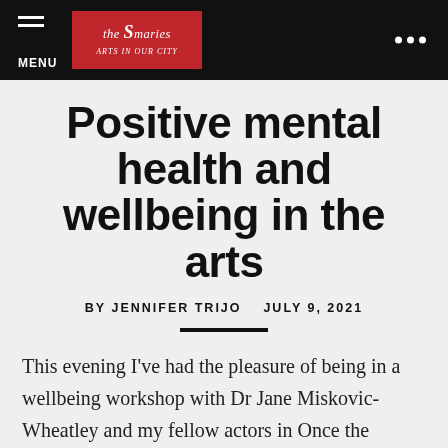MENU | the Galleries [logo] ...
Positive mental health and wellbeing in the arts
BY JENNIFER TRIJO    JULY 9, 2021
This evening I've had the pleasure of being in a wellbeing workshop with Dr Jane Miskovic-Wheatley and my fellow actors in Once the